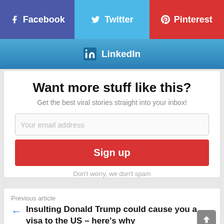[Figure (screenshot): Social share buttons: Facebook (purple-blue), Twitter (light blue), Pinterest (red)]
[Figure (screenshot): LinkedIn share button (gradient blue)]
Want more stuff like this?
Get the best viral stories straight into your inbox!
Your email address
Sign up
Don't worry, we don't spam
Previous article
Insulting Donald Trump could cause you a visa to the US – here's why